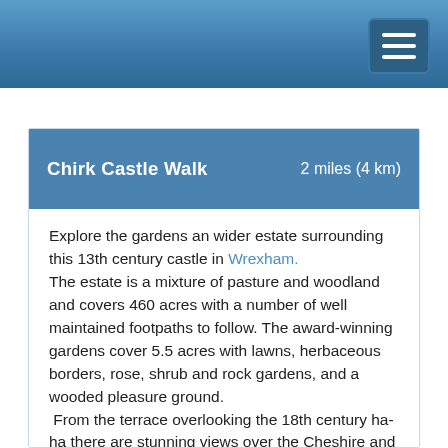Chirk Castle Walk   2 miles (4 km)
Explore the gardens an wider estate surrounding this 13th century castle in Wrexham.
The estate is a mixture of pasture and woodland and covers 460 acres with a number of well maintained footpaths to follow. The award-winning gardens cover 5.5 acres with lawns, herbaceous borders, rose, shrub and rock gardens, and a wooded pleasure ground.  From the terrace overlooking the 18th century ha-ha there are stunning views over the Cheshire and Salop plains.
You can extend your walking in the area by heading